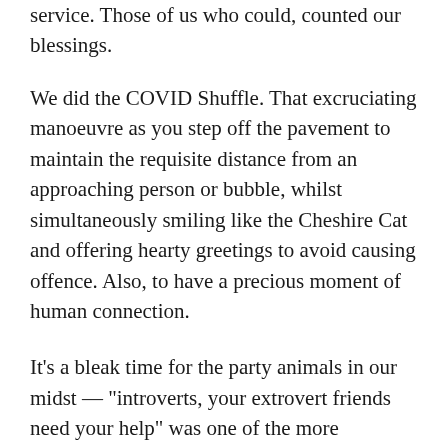service. Those of us who could, counted our blessings.
We did the COVID Shuffle. That excruciating manoeuvre as you step off the pavement to maintain the requisite distance from an approaching person or bubble, whilst simultaneously smiling like the Cheshire Cat and offering hearty greetings to avoid causing offence. Also, to have a precious moment of human connection.
It’s a bleak time for the party animals in our midst — “introverts, your extrovert friends need your help” was one of the more entertaining and ironic truths coming through from the meme land. Life in the time of Lockdown was also something of a bonfire of the vanities. What’s the point blinging-up a storm to sit at home? Actually, I did smear a bit of make-up around most days — Zoom has a certain motivating quality on that score. Occasionally ditched the leggings for a skirt